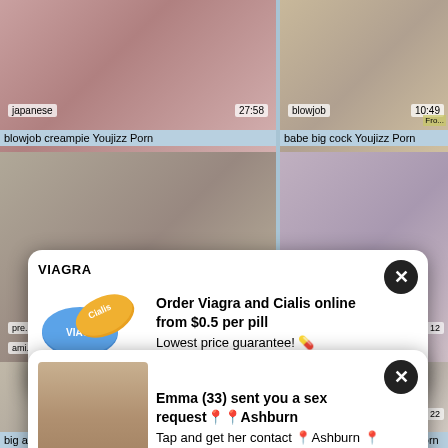[Figure (screenshot): Porn video thumbnail grid with two popup ad overlays (Viagra/Cialis ad and dating/sex request ad). Top row shows two video thumbnails with tags 'japanese'/'27:58' and 'blowjob'/'10:49'. Middle row shows two more thumbnails partially visible. Bottom row shows two more thumbnails with labels 'big ass cumshot Youjizz Porn' and 'amateur interracial Youjizz Porn'. Two white popup cards overlay the content.]
blowjob creampie Youjizz Porn
babe big cock Youjizz Porn
Order Viagra and Cialis online from $0.5 per pill
Lowest price guarantee! 💊
Emma (33) sent you a sex request📍📍Ashburn
Tap and get her contact 📍Ashburn 📍
big ass cumshot Youjizz Porn
amateur interracial Youjizz Porn